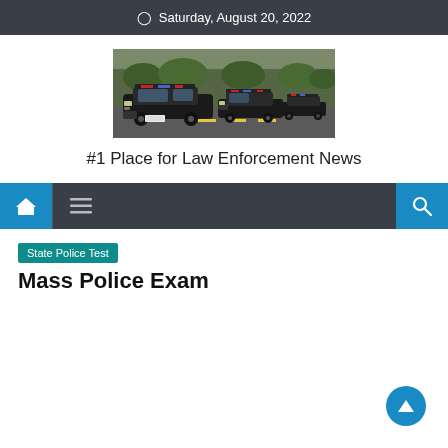Saturday, August 20, 2022
[Figure (photo): A line of black police cars with red and blue lights driving on a road, with trees in the background.]
#1 Place for Law Enforcement News
State Police Test
Mass Police Exam